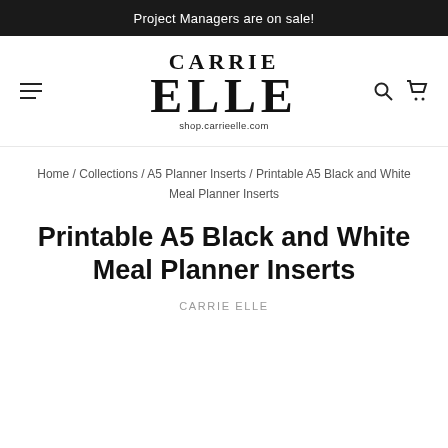Project Managers are on sale!
[Figure (logo): Carrie Elle logo with text CARRIE ELLE and shop.carrieelle.com]
Home / Collections / A5 Planner Inserts / Printable A5 Black and White Meal Planner Inserts
Printable A5 Black and White Meal Planner Inserts
CARRIE ELLE